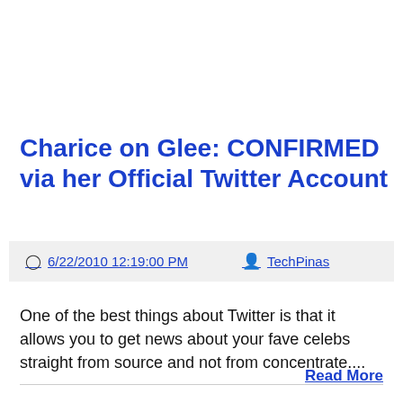Charice on Glee: CONFIRMED via her Official Twitter Account
6/22/2010 12:19:00 PM   TechPinas
One of the best things about Twitter is that it allows you to get news about your fave celebs straight from source and not from concentrate....
Read More